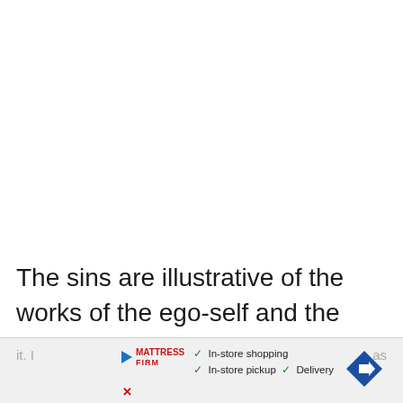The sins are illustrative of the works of the ego-self and the virtues are pathways to the higher self. He said that the virtues are specific cures or remedies for the vices. Anger was one of the sins and patience was the virtue to overcome it. I as tru
[Figure (other): Advertisement banner overlay at bottom of page showing Mattress Firm ad with play button icon, brand logo, checkmarks for In-store shopping, In-store pickup, Delivery, and a navigation arrow icon. Partially obscures body text.]